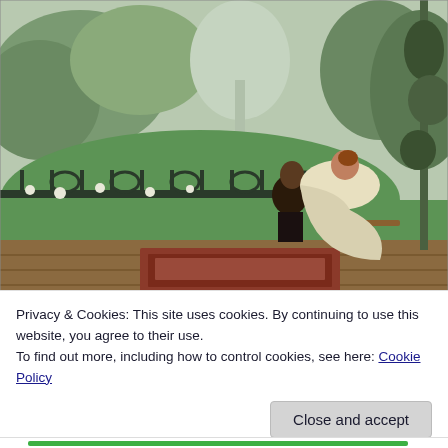[Figure (illustration): A Victorian-era oil painting depicting a man and woman seated on a terrace or balcony. The woman wears a long cream/gold dress and the man is in a dark suit. They are surrounded by lush green garden scenery with ornate iron railings behind them. An oriental rug is visible on the wooden deck floor.]
Privacy & Cookies: This site uses cookies. By continuing to use this website, you agree to their use.
To find out more, including how to control cookies, see here: Cookie Policy